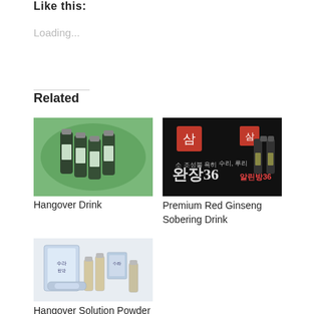Like this:
Loading...
Related
[Figure (photo): Hangover drink product photo showing small dark glass bottles on a green leaf background]
Hangover Drink
[Figure (photo): Premium Red Ginseng Sobering Drink product photo with Korean text and dark background]
Premium Red Ginseng Sobering Drink
[Figure (photo): Hangover Solution Powder product photo showing small bottles and packets on white background with Korean text]
Hangover Solution Powder